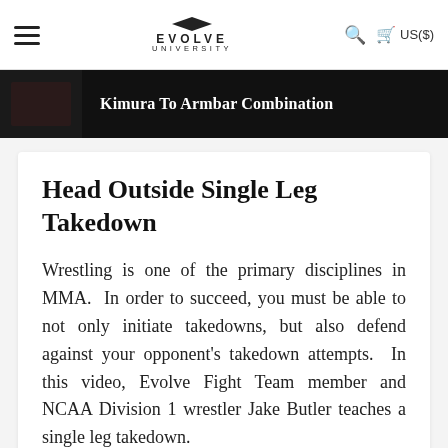EVOLVE UNIVERSITY | US($)
[Figure (screenshot): Video thumbnail strip showing 'Kimura To Armbar Combination' lesson with dark background and thumbnail image on left]
Kimura To Armbar Combination
Head Outside Single Leg Takedown
Wrestling is one of the primary disciplines in MMA.  In order to succeed, you must be able to not only initiate takedowns, but also defend against your opponent's takedown attempts.  In this video, Evolve Fight Team member and NCAA Division 1 wrestler Jake Butler teaches a single leg takedown.